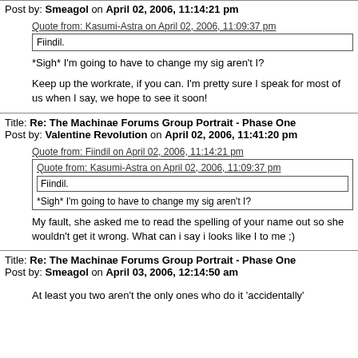Post by: Smeagol on April 02, 2006, 11:14:21 pm
Quote from: Kasumi-Astra on April 02, 2006, 11:09:37 pm
Fiindil.
*Sigh* I'm going to have to change my sig aren't I?
Keep up the workrate, if you can. I'm pretty sure I speak for most of us when I say, we hope to see it soon!
Title: Re: The Machinae Forums Group Portrait - Phase One
Post by: Valentine Revolution on April 02, 2006, 11:41:20 pm
Quote from: Fiindil on April 02, 2006, 11:14:21 pm
Quote from: Kasumi-Astra on April 02, 2006, 11:09:37 pm
Fiindil.
*Sigh* I'm going to have to change my sig aren't I?
My fault, she asked me to read the spelling of your name out so she wouldn't get it wrong. What can i say i looks like I to me ;)
Title: Re: The Machinae Forums Group Portrait - Phase One
Post by: Smeagol on April 03, 2006, 12:14:50 am
At least you two aren't the only ones who do it 'accidentally'